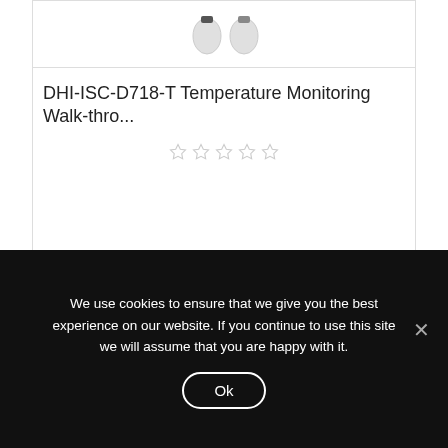[Figure (photo): Partial top of a product image card showing two small security camera thumbnails]
DHI-ISC-D718-T Temperature Monitoring Walk-thro...
[Figure (photo): White dome/egg-shaped security camera with black top connector, Dahua branded, shown from above on white background]
We use cookies to ensure that we give you the best experience on our website. If you continue to use this site we will assume that you are happy with it.